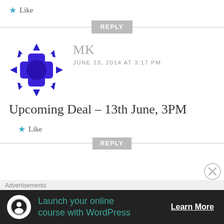Like
REPLY
[Figure (illustration): Blue and purple geometric avatar icon for user MK, resembling a soccer ball or kaleidoscope pattern in dark blue/purple.]
MK
JUNE 13, 2014 AT 3:17 PM
Upcoming Deal – 13th June, 3PM
Like
REPLY
Advertisements
Launch your online course with WordPress
Learn More